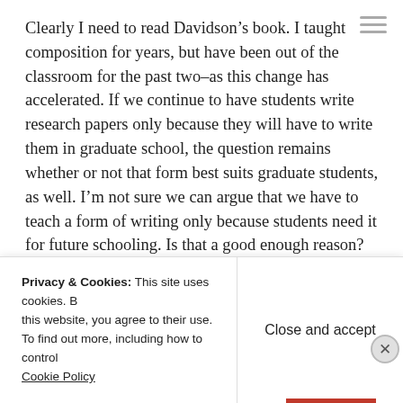Clearly I need to read Davidson’s book. I taught composition for years, but have been out of the classroom for the past two–as this change has accelerated. If we continue to have students write research papers only because they will have to write them in graduate school, the question remains whether or not that form best suits graduate students, as well. I’m not sure we can argue that we have to teach a form of writing only because students need it for future schooling. Is that a good enough reason? And how long will it be before advanced academic research changes as well? And isn’t it already changing? I haven’t been a grad student in decades, but it seems to me change there is inevitable
Privacy & Cookies: This site uses cookies. By continuing to use this website, you agree to their use. To find out more, including how to control cookies, see here: Cookie Policy
Close and accept